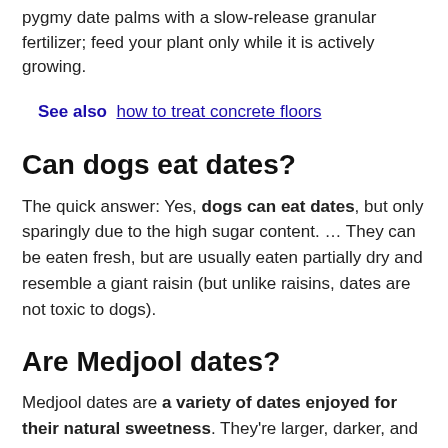pygmy date palms with a slow-release granular fertilizer; feed your plant only while it is actively growing.
See also  how to treat concrete floors
Can dogs eat dates?
The quick answer: Yes, dogs can eat dates, but only sparingly due to the high sugar content. … They can be eaten fresh, but are usually eaten partially dry and resemble a giant raisin (but unlike raisins, dates are not toxic to dogs).
Are Medjool dates?
Medjool dates are a variety of dates enjoyed for their natural sweetness. They're larger, darker, and more caramel-like in taste than other common types like Deglet